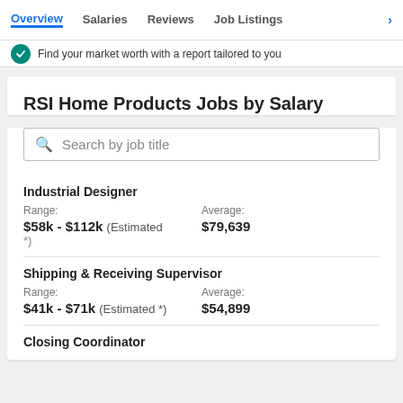Overview | Salaries | Reviews | Job Listings
Find your market worth with a report tailored to you
RSI Home Products Jobs by Salary
Search by job title
Industrial Designer – Range: $58k - $112k (Estimated *) Average: $79,639
Shipping & Receiving Supervisor – Range: $41k - $71k (Estimated *) Average: $54,899
Closing Coordinator